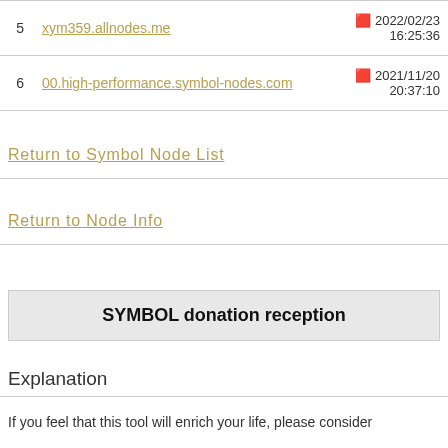| # | Node | Date |
| --- | --- | --- |
| 5 | xym359.allnodes.me | 🔴 2022/02/23 16:25:36 |
| 6 | 00.high-performance.symbol-nodes.com | 🔴 2021/11/20 20:37:10 |
Return to Symbol Node List
Return to Node Info
SYMBOL donation reception
Explanation
If you feel that this tool will enrich your life, please consider